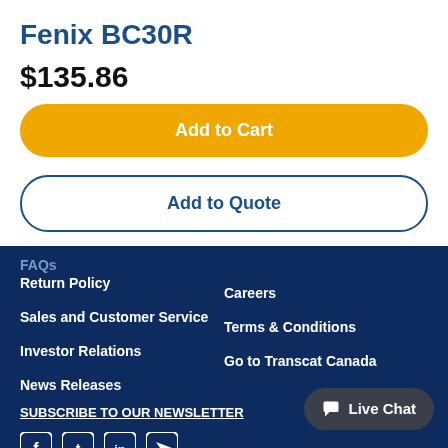Fenix BC30R
$135.86
Add to Cart
Add to Quote
FAQs
Return Policy
Careers
Sales and Customer Service
Terms & Conditions
Investor Relations
Go to Transcat Canada
News Releases
Live Chat
SUBSCRIBE TO OUR NEWSLETTER